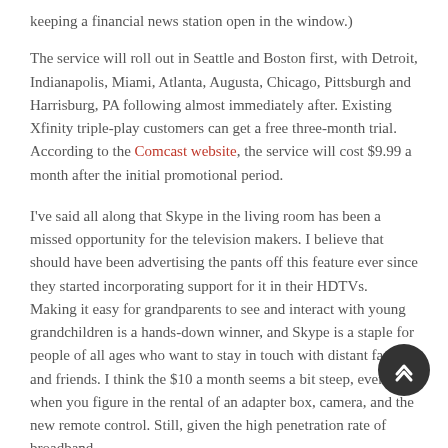keeping a financial news station open in the window.)
The service will roll out in Seattle and Boston first, with Detroit, Indianapolis, Miami, Atlanta, Augusta, Chicago, Pittsburgh and Harrisburg, PA following almost immediately after. Existing Xfinity triple-play customers can get a free three-month trial. According to the Comcast website, the service will cost $9.99 a month after the initial promotional period.
I've said all along that Skype in the living room has been a missed opportunity for the television makers. I believe that should have been advertising the pants off this feature ever since they started incorporating support for it in their HDTVs. Making it easy for grandparents to see and interact with young grandchildren is a hands-down winner, and Skype is a staple for people of all ages who want to stay in touch with distant family and friends. I think the $10 a month seems a bit steep, even when you figure in the rental of an adapter box, camera, and the new remote control. Still, given the high penetration rate of broadband